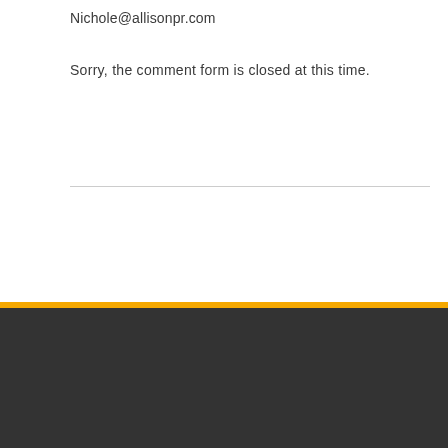Nichole@allisonpr.com
Sorry, the comment form is closed at this time.
[Figure (logo): FiberGuide logo with swoosh graphic on dark footer background]
FiberGuide